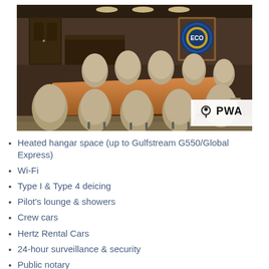[Figure (photo): Conference room with a large wooden boardroom table surrounded by beige/tan leather executive chairs. The room has dark wood accents, carpet flooring, and a decorative circular logo/emblem on the back wall. A white PWA location badge overlay appears in the bottom right of the image.]
Heated hangar space (up to Gulfstream G550/Global Express)
Wi-Fi
Type I & Type 4 deicing
Pilot's lounge & showers
Crew cars
Hertz Rental Cars
24-hour surveillance & security
Public notary